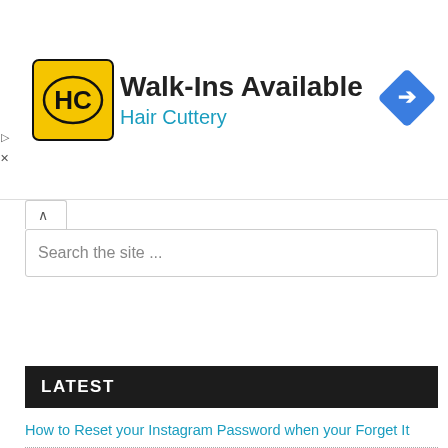[Figure (advertisement): Hair Cuttery ad banner with yellow HC logo, text 'Walk-Ins Available' and 'Hair Cuttery' in blue, and a blue diamond navigation icon on the right]
Search the site ...
LATEST
How to Reset your Instagram Password when your Forget It
DStv Plans, Subscription Packages, Channel List and Price
GOTv Packages, Subscription Plans, Channel List and Price